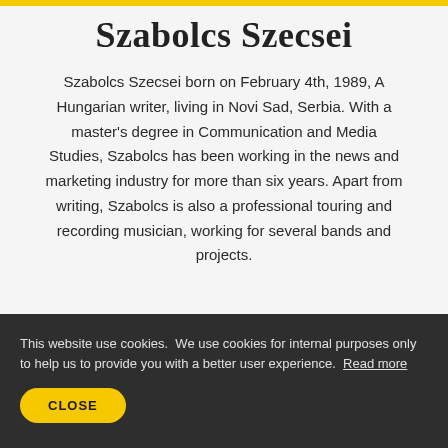Szabolcs Szecsei
Szabolcs Szecsei born on February 4th, 1989, A Hungarian writer, living in Novi Sad, Serbia. With a master's degree in Communication and Media Studies, Szabolcs has been working in the news and marketing industry for more than six years. Apart from writing, Szabolcs is also a professional touring and recording musician, working for several bands and projects.
This website use cookies. We use cookies for internal purposes only to help us to provide you with a better user experience. Read more
CLOSE